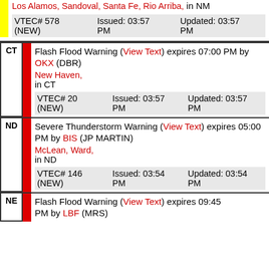Los Alamos, Sandoval, Santa Fe, Rio Arriba, in NM VTEC# 578 (NEW) Issued: 03:57 PM Updated: 03:57 PM
Flash Flood Warning (View Text) expires 07:00 PM by OKX (DBR) New Haven, in CT VTEC# 20 (NEW) Issued: 03:57 PM Updated: 03:57 PM
Severe Thunderstorm Warning (View Text) expires 05:00 PM by BIS (JP MARTIN) McLean, Ward, in ND VTEC# 146 (NEW) Issued: 03:54 PM Updated: 03:54 PM
Flash Flood Warning (View Text) expires 09:45 PM by LBF (MRS)